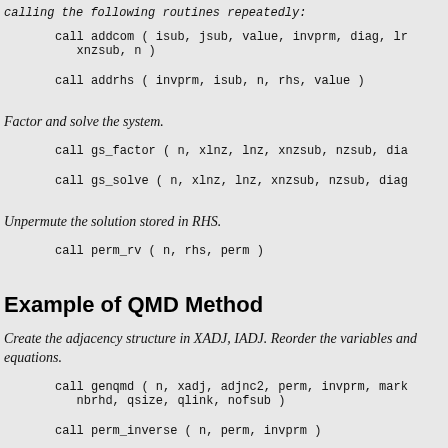calling the following routines repeatedly:
call addcom ( isub, jsub, value, invprm, diag, lr xnzsub, n )
call addrhs ( invprm, isub, n, rhs, value )
Factor and solve the system.
call gs_factor ( n, xlnz, lnz, xnzsub, nzsub, dia
call gs_solve ( n, xlnz, lnz, xnzsub, nzsub, diag
Unpermute the solution stored in RHS.
call perm_rv ( n, rhs, perm )
Example of QMD Method
Create the adjacency structure in XADJ, IADJ. Reorder the variables and equations.
call genqmd ( n, xadj, adjnc2, perm, invprm, mark nbrhd, qsize, qlink, nofsub )
call perm_inverse ( n, perm, invprm )